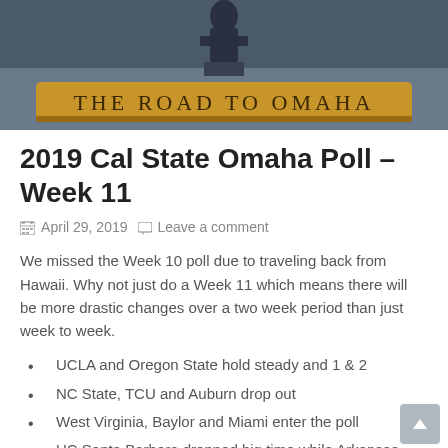[Figure (photo): Bronze statue on a wooden plinth reading 'THE ROAD TO OMAHA' in large engraved letters, outdoor setting]
2019 Cal State Omaha Poll – Week 11
April 29, 2019  Leave a comment
We missed the Week 10 poll due to traveling back from Hawaii. Why not just do a Week 11 which means there will be more drastic changes over a two week period than just week to week.
UCLA and Oregon State hold steady and 1 & 2
NC State, TCU and Auburn drop out
West Virginia, Baylor and Miami enter the poll
UC Santa Barbara dropped big time while Arkansas makes the biggest climb